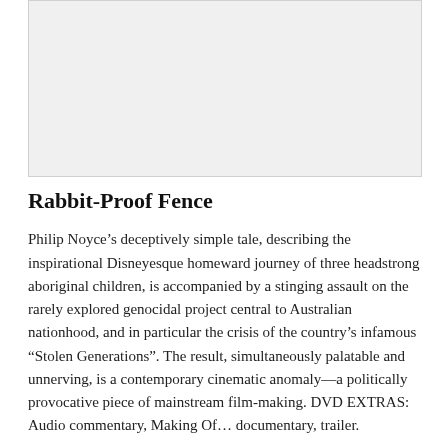[Figure (photo): A light gray rectangular image placeholder at the top of the page.]
Rabbit-Proof Fence
Philip Noyce’s deceptively simple tale, describing the inspirational Disneyesque homeward journey of three headstrong aboriginal children, is accompanied by a stinging assault on the rarely explored genocidal project central to Australian nationhood, and in particular the crisis of the country’s infamous “Stolen Generations”. The result, simultaneously palatable and unnerving, is a contemporary cinematic anomaly—a politically provocative piece of mainstream film-making. DVD EXTRAS: Audio commentary, Making Of… documentary, trailer.